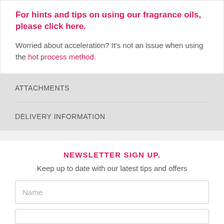For hints and tips on using our fragrance oils, please click here.
Worried about acceleration? It's not an issue when using the hot process method.
ATTACHMENTS
DELIVERY INFORMATION
NEWSLETTER SIGN UP.
Keep up to date with our latest tips and offers
Name